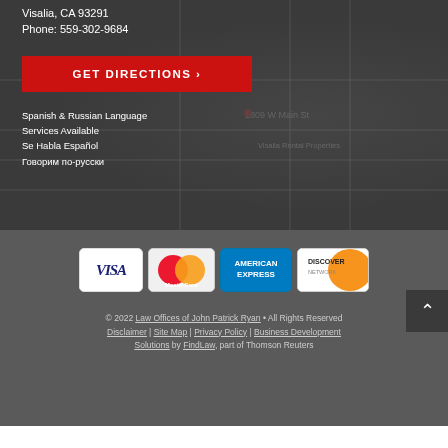Visalia, CA 93291
Phone: 559-302-9684
[Figure (other): GET DIRECTIONS button in red with white text and arrow]
Spanish & Russian Language Services Available
Se Habla Español
Говорим по-русски
[Figure (other): Map background showing 1809 W Main St area]
[Figure (other): Payment method icons: VISA, MasterCard, American Express, Discover Network]
© 2022 Law Offices of John Patrick Ryan • All Rights Reserved
Disclaimer | Site Map | Privacy Policy | Business Development Solutions by FindLaw, part of Thomson Reuters